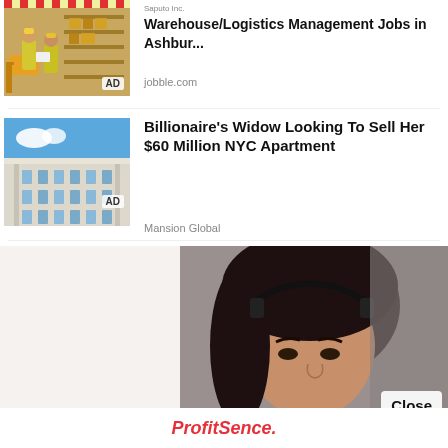[Figure (photo): Two warehouse workers in yellow safety vests and hard hats in a logistics facility]
Saputo Inc. Warehouse/Logistics Management Jobs in Ashbur...
jobble.com
[Figure (photo): Ornate white apartment building facade against blue sky]
Billionaire's Widow Looking To Sell Her $60 Million NYC Apartment
Mansion Global
[Figure (photo): Woman with dark hair wearing a headset, call center or customer service context. ProfitSence advertisement with Close button.]